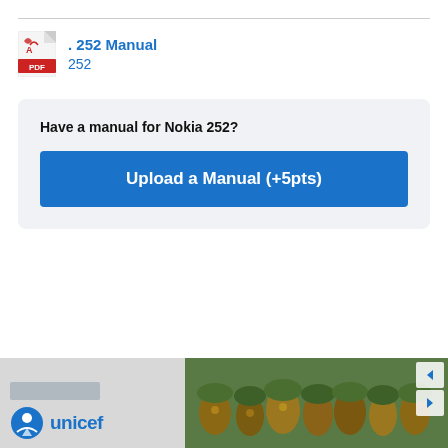. 252 Manual
252
Have a manual for Nokia 252?
Upload a Manual (+5pts)
[Figure (photo): UNICEF advertisement banner with logo and photo of children wearing green hats]